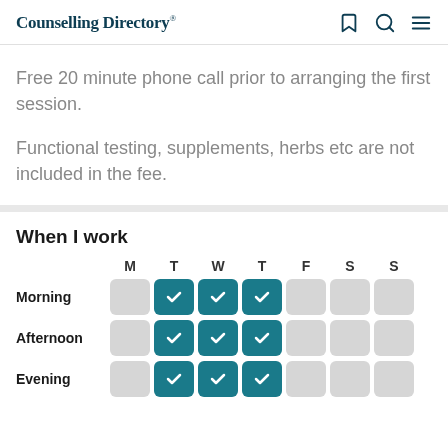Counselling Directory
Free 20 minute phone call prior to arranging the first session.
Functional testing, supplements, herbs etc are not included in the fee.
When I work
|  | M | T | W | T | F | S | S |
| --- | --- | --- | --- | --- | --- | --- | --- |
| Morning | ✗ | ✓ | ✓ | ✓ | ✗ | ✗ | ✗ |
| Afternoon | ✗ | ✓ | ✓ | ✓ | ✗ | ✗ | ✗ |
| Evening | ✗ | ✓ | ✓ | ✓ | ✗ | ✗ | ✗ |